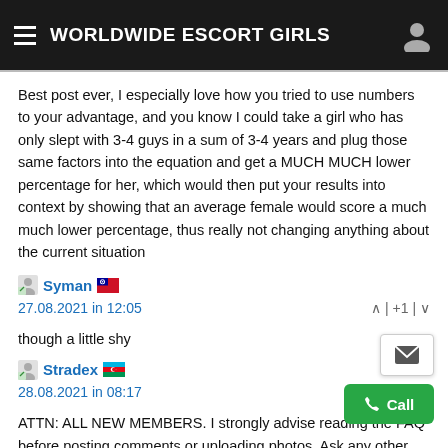WORLDWIDE ESCORT GIRLS
Best post ever, I especially love how you tried to use numbers to your advantage, and you know I could take a girl who has only slept with 3-4 guys in a sum of 3-4 years and plug those same factors into the equation and get a MUCH MUCH lower percentage for her, which would then put your results into context by showing that an average female would score a much much lower percentage, thus really not changing anything about the current situation
Syman 🇹🇼
27.08.2021 in 12:05  ^ | +1 | v
though a little shy
Stradex 🇦🇿
28.08.2021 in 08:17  ^ | +1 | v
ATTN: ALL NEW MEMBERS. I strongly advise reading the FAQ before posting comments or uploading photos. Ask any other questions here on the Comment Page 2 and your friendly neighborhood Moderator will answer them. Thank you!
Xiaowen 🇸🇪